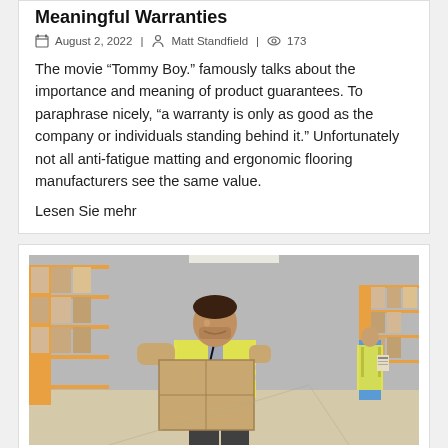Meaningful Warranties
August 2, 2022 | Matt Standfield | 173
The movie “Tommy Boy.” famously talks about the importance and meaning of product guarantees. To paraphrase nicely, “a warranty is only as good as the company or individuals standing behind it.” Unfortunately not all anti-fatigue matting and ergonomic flooring manufacturers see the same value.
Lesen Sie mehr
[Figure (photo): Warehouse worker in yellow safety vest carrying a cardboard box, with shelving racks of boxes visible in the background and a second worker in the far background.]